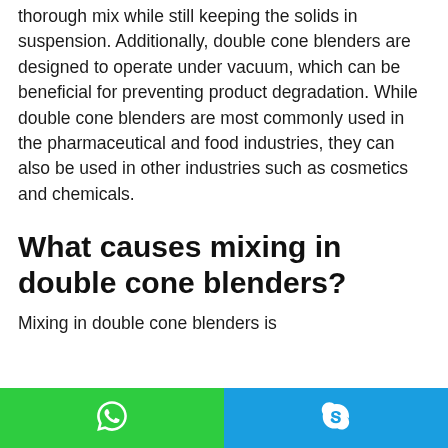thorough mix while still keeping the solids in suspension. Additionally, double cone blenders are designed to operate under vacuum, which can be beneficial for preventing product degradation. While double cone blenders are most commonly used in the pharmaceutical and food industries, they can also be used in other industries such as cosmetics and chemicals.
What causes mixing in double cone blenders?
Mixing in double cone blenders is
WhatsApp | Skype